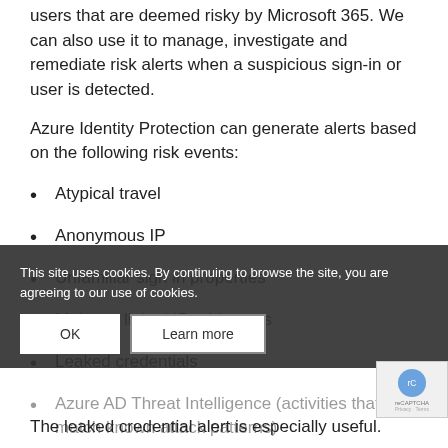users that are deemed risky by Microsoft 365. We can also use it to manage, investigate and remediate risk alerts when a suspicious sign-in or user is detected.
Azure Identity Protection can generate alerts based on the following risk events:
Atypical travel
Anonymous IP
Unfamiliar sign in properties
Malware linked IP addresses
Leaked credentials
Azure AD Threat Intelligence (activities that match known attack patterns)
The leaked credential alert is especially useful.